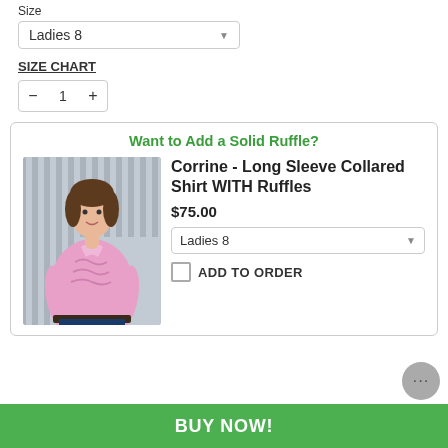Size
Ladies 8
SIZE CHART
− 1 +
Want to Add a Solid Ruffle?
[Figure (photo): Woman wearing a pink long sleeve collared shirt with ruffles, standing in front of a corrugated metal wall]
Corrine - Long Sleeve Collared Shirt WITH Ruffles
$75.00
Ladies 8
ADD TO ORDER
BUY NOW!